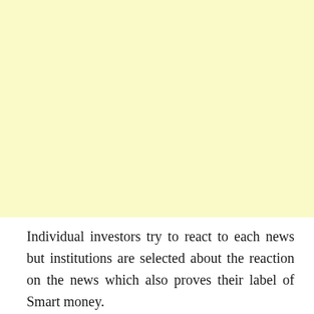[Figure (other): Large pale yellow rectangular block occupying the upper portion of the page]
Individual investors try to react to each news but institutions are selected about the reaction on the news which also proves their label of Smart money.